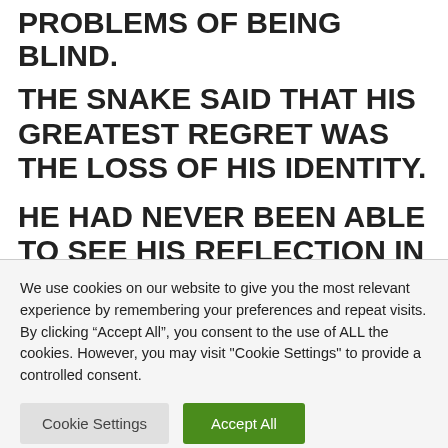PROBLEMS OF BEING BLIND.
THE SNAKE SAID THAT HIS GREATEST REGRET WAS THE LOSS OF HIS IDENTITY.
HE HAD NEVER BEEN ABLE TO SEE HIS REFLECTION IN THE WATER, AND FOR THAT REASON DID NOT KNOW EXACTLY WHAT HE LOOKED LIKE, OR EVEN WHAT
We use cookies on our website to give you the most relevant experience by remembering your preferences and repeat visits. By clicking “Accept All”, you consent to the use of ALL the cookies. However, you may visit "Cookie Settings" to provide a controlled consent.
Cookie Settings
Accept All